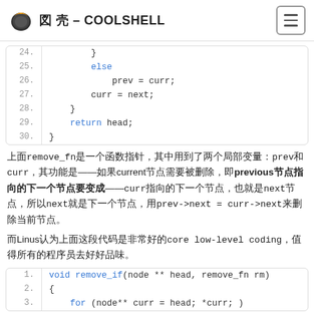酷 壳 – COOLSHELL
[Figure (screenshot): Code block showing lines 24-30 of a C function with else, prev = curr, curr = next, closing braces, and return head]
上面remove_fn是一个函数指针，其中用到了两个局部变量：prev和curr，其功能是——如果current节点需要被删除，即previous节点指向的下一个节点要变成——curr指向的下一个节点，也就是next节点，所以next就是下一个节点，用prev->next = curr->next来删除当前节点。
而Linus认为上面这段代码是非常好的core low-level coding，值得所有的程序员去好好品味。
[Figure (screenshot): Code block showing lines 1-3 of void remove_if function beginning]